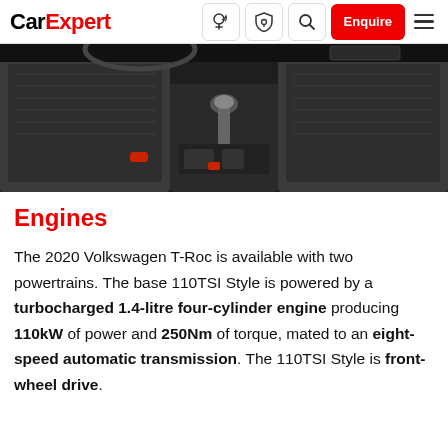CarExpert | Enquire
[Figure (photo): Interior photo of a Volkswagen T-Roc showing the centre console, gear shifter, and front seats with dark grey fabric upholstery]
Engines
The 2020 Volkswagen T-Roc is available with two powertrains. The base 110TSI Style is powered by a turbocharged 1.4-litre four-cylinder engine producing 110kW of power and 250Nm of torque, mated to an eight-speed automatic transmission. The 110TSI Style is front-wheel drive.